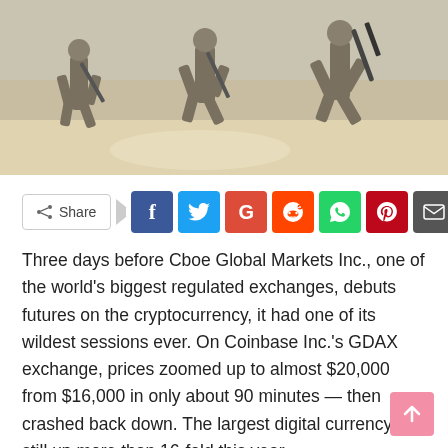[Figure (photo): Soldiers in camouflage running across sandy terrain, carrying rifles]
Share [social share buttons: Facebook, Twitter, Google+, Reddit, WhatsApp, Pinterest, Email]
Three days before Cboe Global Markets Inc., one of the world's biggest regulated exchanges, debuts futures on the cryptocurrency, it had one of its wildest sessions ever. On Coinbase Inc.'s GDAX exchange, prices zoomed up to almost $20,000 from $16,000 in only about 90 minutes — then crashed back down. The largest digital currency is still up more than 16-fold this year.
Coinbase, one of the largest U.S. online exchanges used by investors, temporarily crashed and continued to suffer from service delays. Trezor, a wallet service,